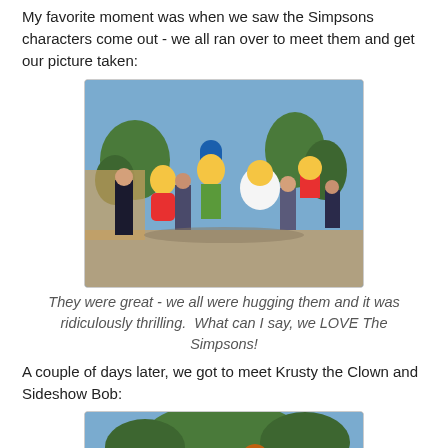My favorite moment was when we saw the Simpsons characters come out - we all ran over to meet them and get our picture taken:
[Figure (photo): Group photo with Simpsons character mascots (Lisa, Marge, Homer, Bart) and park visitors outdoors at a theme park.]
They were great - we all were hugging them and it was ridiculously thrilling. What can I say, we LOVE The Simpsons!
A couple of days later, we got to meet Krusty the Clown and Sideshow Bob:
[Figure (photo): Partial photo showing Krusty the Clown and Sideshow Bob mascots at a theme park, image cropped.]